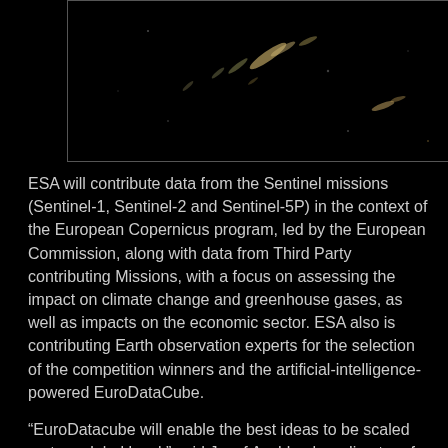[Figure (photo): Dark space/astronomy image showing a black background with scattered faint light streaks and dots resembling galaxies or stars, bordered by a thin grey rectangular frame.]
ESA will contribute data from the Sentinel missions (Sentinel-1, Sentinel-2 and Sentinel-5P) in the context of the European Copernicus program, led by the European Commission, along with data from Third Party contributing Missions, with a focus on assessing the impact on climate change and greenhouse gases, as well as impacts on the economic sector. ESA also is contributing Earth observation experts for the selection of the competition winners and the artificial-intelligence-powered EuroDataCube.
“EuroDatacube will enable the best ideas to be scaled up to a global level,” said Josef Aschbacher, director of Earth Observation Programmes at ESA. “The pandemic crisis has a worldwide impact, therefore international cooperation and sharing of data and expertise with partners like NASA and JAXA